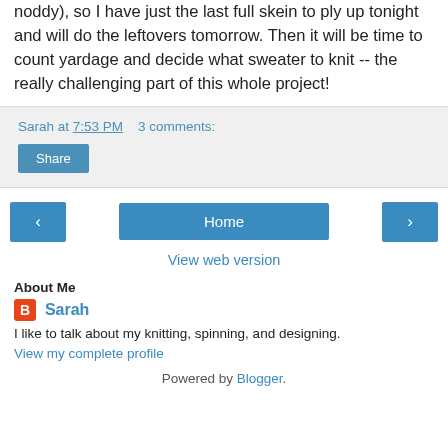noddy), so I have just the last full skein to ply up tonight and will do the leftovers tomorrow. Then it will be time to count yardage and decide what sweater to knit -- the really challenging part of this whole project!
Sarah at 7:53 PM    3 comments:
Share
‹  Home  ›
View web version
About Me
Sarah
I like to talk about my knitting, spinning, and designing.
View my complete profile
Powered by Blogger.